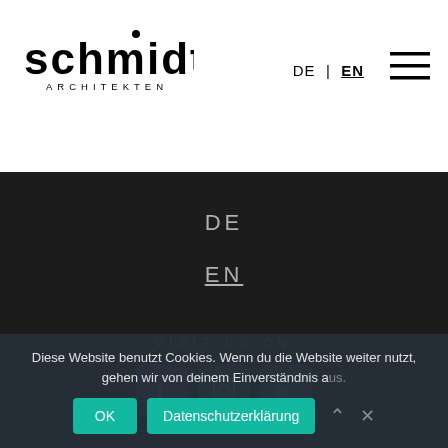[Figure (logo): Schmidt Architekten logo — stylized lowercase 'schmidt' with a dot above the 'd', and 'ARCHITEKTEN' in spaced capitals below]
DE | EN
[Figure (other): Hamburger menu icon — three horizontal lines]
DE
EN
VISIT US ON
[Figure (other): Social media icons: Facebook (f), Instagram (camera), LinkedIn (in) — teal/blue rounded square buttons]
Diese Website benutzt Cookies. Wenn du die Website weiter nutzt, gehen wir von deinem Einverständnis aus.
OK
Datenschutzerklärung